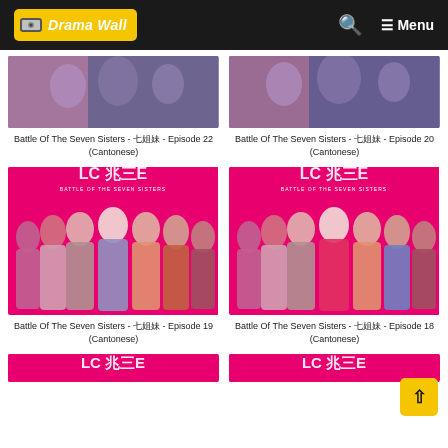Drama Wall — Menu
[Figure (screenshot): Partially visible thumbnail showing Battle Of The Seven Sisters Episode 22 drama poster with characters]
Battle Of The Seven Sisters - 七姐妹 - Episode 22 (Cantonese)
[Figure (screenshot): Partially visible thumbnail showing Battle Of The Seven Sisters Episode 20 drama poster with characters]
Battle Of The Seven Sisters - 七姐妹 - Episode 20 (Cantonese)
[Figure (photo): Pink promotional poster for Battle Of The Seven Sisters showing seven women posing together]
Battle Of The Seven Sisters - 七姐妹 - Episode 19 (Cantonese)
[Figure (photo): Pink promotional poster for Battle Of The Seven Sisters showing seven women posing together]
Battle Of The Seven Sisters - 七姐妹 - Episode 18 (Cantonese)
[Figure (photo): Partially visible pink promotional poster for Battle Of The Seven Sisters at bottom of page]
[Figure (photo): Partially visible pink promotional poster for Battle Of The Seven Sisters at bottom of page]